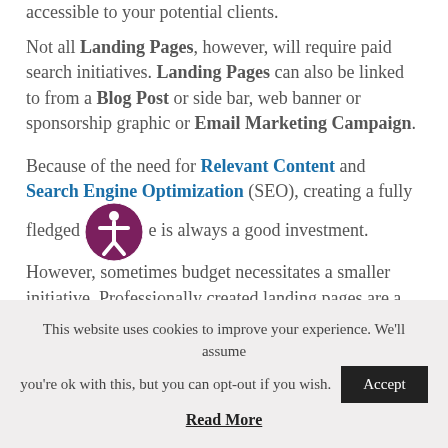accessible to your potential clients.
Not all Landing Pages, however, will require paid search initiatives. Landing Pages can also be linked to from a Blog Post or side bar, web banner or sponsorship graphic or Email Marketing Campaign.
Because of the need for Relevant Content and Search Engine Optimization (SEO), creating a fully fledged [accessibility icon] e is always a good investment. However, sometimes budget necessitates a smaller initiative. Professionally created landing pages are a great way to get started advertising your Florida small business online. Depending on the scope of your business, landing pages can act as Stand-
This website uses cookies to improve your experience. We'll assume you're ok with this, but you can opt-out if you wish. Accept
Read More